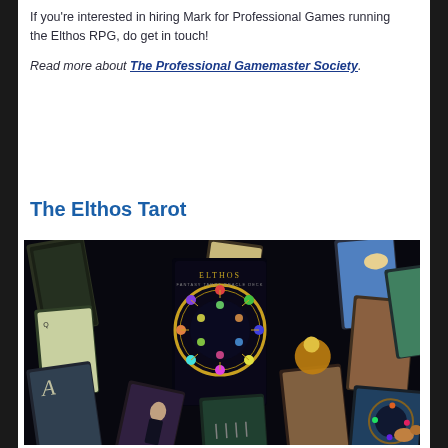If you're interested in hiring Mark for Professional Games running the Elthos RPG, do get in touch!
Read more about The Professional Gamemaster Society.
The Elthos Tarot
[Figure (photo): A spread of Elthos Tarot cards showing various illustrated cards with fantasy artwork, including a central dark card featuring a circular wheel/zodiac design with the Elthos logo, surrounded by numerous other tarot cards with characters and fantasy scenes.]